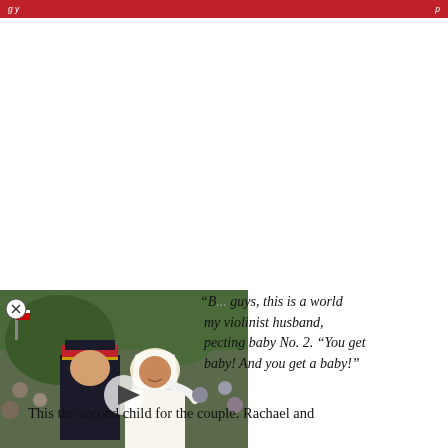guys, this is a world
[Figure (photo): Photo of a couple in formal/royal attire, man in military uniform and woman in white wedding dress and veil, with crowd in background. A video play button overlay is visible.]
“B... guys, this is a world ... my violinist husband, ...pecting baby No. 2. “You get ...baby! And you get a baby!”
This the second child for the couple. Rachael and